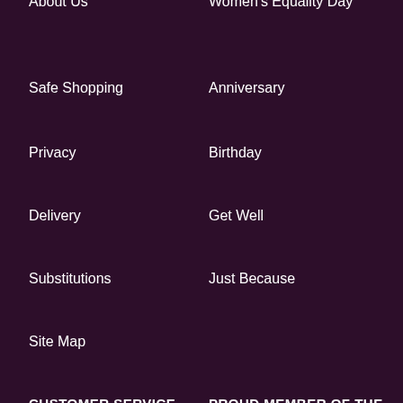About Us
Women's Equality Day
Safe Shopping
Anniversary
Privacy
Birthday
Delivery
Get Well
Substitutions
Just Because
Site Map
CUSTOMER SERVICE
PROUD MEMBER OF THE
Help/FAQs
[Figure (logo): Teleflora network logo with pink 'teleflora.' text and white 'Network' text]